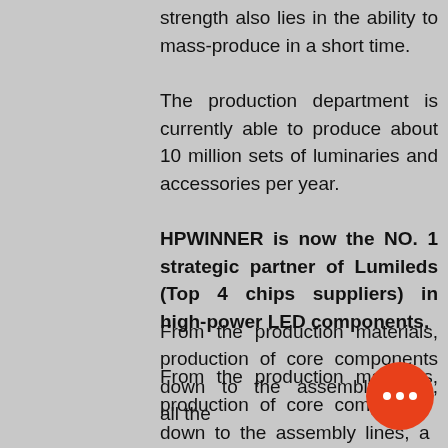strength also lies in the ability to mass-produce in a short time.
The production department is currently able to produce about 10 million sets of luminaries and accessories per year.
HPWINNER is now the NO. 1 strategic partner of Lumileds (Top 4 chips suppliers) in high-power LED components.
From the production materials, production of core components down to the assembly lines, all the